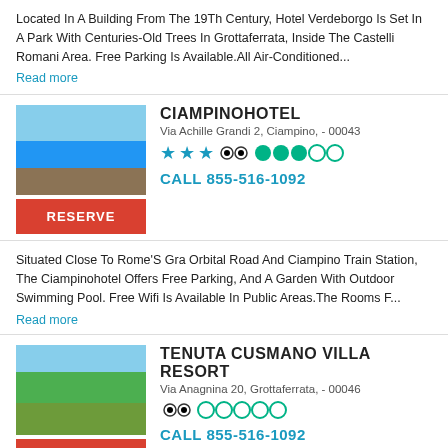Located In A Building From The 19Th Century, Hotel Verdeborgo Is Set In A Park With Centuries-Old Trees In Grottaferrata, Inside The Castelli Romani Area. Free Parking Is Available.All Air-Conditioned...
Read more
CIAMPINOHOTEL
Via Achille Grandi 2, Ciampino, - 00043
[Figure (photo): Hotel exterior with pool]
RESERVE
CALL 855-516-1092
Situated Close To Rome'S Gra Orbital Road And Ciampino Train Station, The Ciampinohotel Offers Free Parking, And A Garden With Outdoor Swimming Pool. Free Wifi Is Available In Public Areas.The Rooms F...
Read more
TENUTA CUSMANO VILLA RESORT
Via Anagnina 20, Grottaferrata, - 00046
[Figure (photo): Villa resort with garden and pool]
RESERVE
CALL 855-516-1092